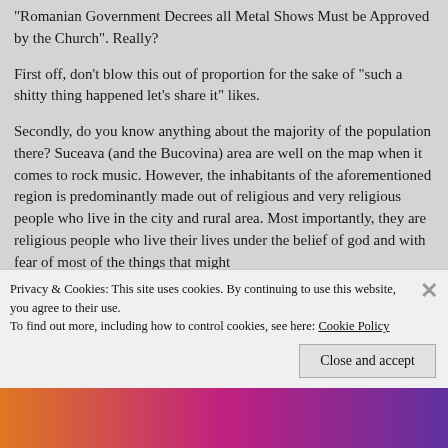“Romanian Government Decrees all Metal Shows Must be Approved by the Church”. Really?
First off, don’t blow this out of proportion for the sake of “such a shitty thing happened let’s share it” likes.
Secondly, do you know anything about the majority of the population there? Suceava (and the Bucovina) area are well on the map when it comes to rock music. However, the inhabitants of the aforementioned region is predominantly made out of religious and very religious people who live in the city and rural area. Most importantly, they are religious people who live their lives under the belief of god and with fear of most of the things that might
Privacy & Cookies: This site uses cookies. By continuing to use this website, you agree to their use.
To find out more, including how to control cookies, see here: Cookie Policy